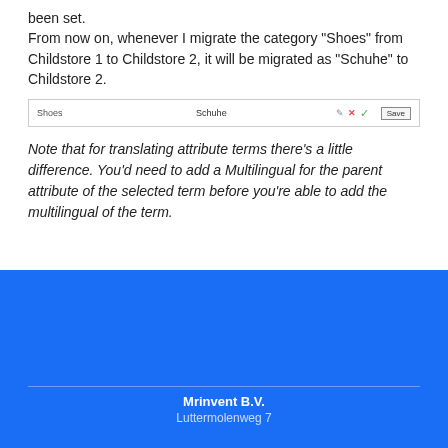been set.
From now on, whenever I migrate the category "Shoes" from Childstore 1 to Childstore 2, it will be migrated as "Schuhe" to Childstore 2.
[Figure (screenshot): UI row showing 'Shoes' label on left, 'Schuhe' text input in center, with edit/cancel/confirm icons and a Save button on the right]
Note that for translating attribute terms there's a little difference. You'd need to add a Multilingual for the parent attribute of the selected term before you're able to add the multilingual of the term.
Mrinvent B.V.
Luttermolenweg 7